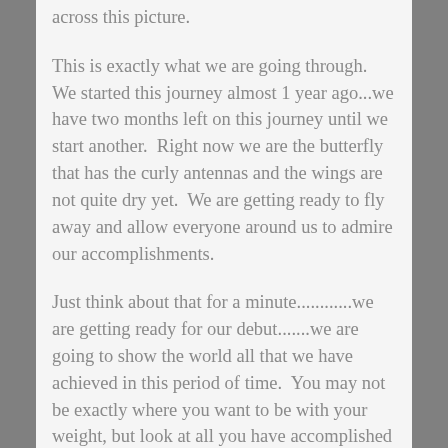across this picture.
This is exactly what we are going through.  We started this journey almost 1 year ago...we have two months left on this journey until we start another.  Right now we are the butterfly that has the curly antennas and the wings are not quite dry yet.  We are getting ready to fly away and allow everyone around us to admire our accomplishments.
Just think about that for a minute............we are getting ready for our debut.......we are going to show the world all that we have achieved in this period of time.  You may not be exactly where you want to be with your weight, but look at all you have accomplished with yourself.  You are changing the way you look by the way you see yourself.  When you see yourself